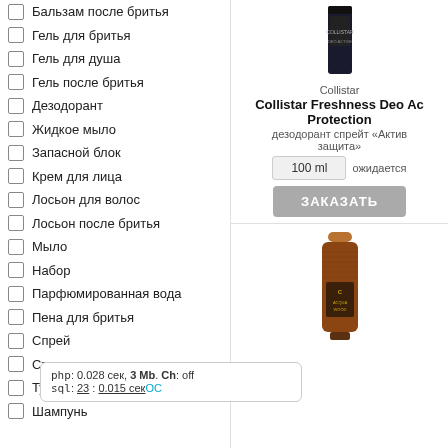Бальзам после бритья
Гель для бритья
Гель для душа
Гель после бритья
Дезодорант
Жидкое мыло
Запасной блок
Крем для лица
Лосьон для волос
Лосьон после бритья
Мыло
Набор
Парфюмированная вода
Пена для бритья
Спрей
Стик
Туалетная вода
Шампунь
[Figure (photo): Dark bottle product photo - Collistar product]
Collistar
Collistar Freshness Deo Active Protection
дезодорант спрейт «Активна защита»
100 ml   ожидается
ЗАКАЗАТЬ
[Figure (photo): Brown copper-topped spray bottle - Collistar Acqua Wood product]
php: 0.028 сек, 3 Mb. Ch: off
sql: 23 : 0.015 сек
ИИ ВОЛОС
От перхоти